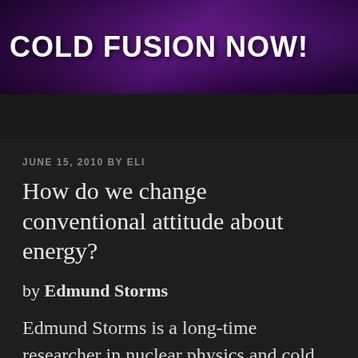[Figure (illustration): Purple/dark banner image with bokeh light effects serving as website header background, with text 'COLD FUSION NOW!' overlaid in bold white capital letters]
≡ Menu
JUNE 15, 2010 BY ELI
How do we change conventional attitude about energy?
by Edmund Storms
Edmund Storms is a long-time researcher in nuclear physics and cold fusion science, formerly of